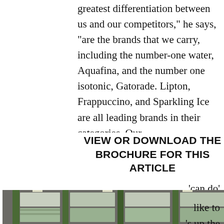greatest differentiation between us and our competitors," he says, "are the brands that we carry, including the number-one water, Aquafina, and the number one isotonic, Gatorade. Lipton, Frappuccino, and Sparkling Ice are all leading brands in their categories. Our
VIEW OR DOWNLOAD THE BROCHURE FOR THIS ARTICLE
ng teams
ll of our
'can do'
mily over
are more
ds."
[Figure (photo): Warehouse interior showing stacked pallets of beverages on tall metal shelving racks]
[Figure (photo): Walton Beverage facility exterior showing a blue arched building with Pepsi delivery trucks in the parking lot]
like to
s up the